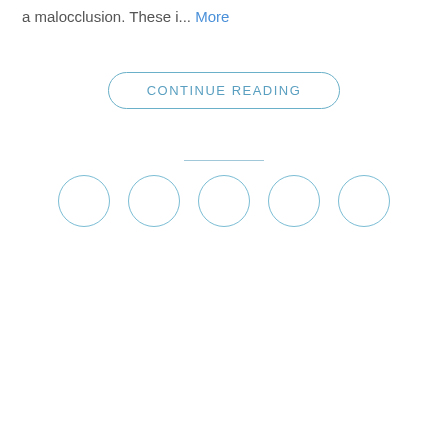a malocclusion. These i... More
CONTINUE READING
[Figure (other): Horizontal divider line]
[Figure (other): Five empty circles arranged horizontally, appearing to be social media share buttons or rating icons]